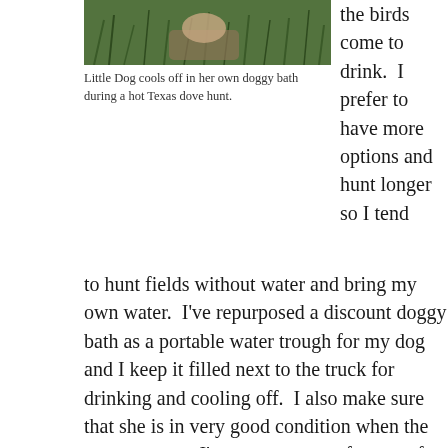[Figure (photo): A dog cooling off in what appears to be a small portable doggy bath outdoors during a Texas dove hunt, surrounded by greenery.]
Little Dog cools off in her own doggy bath during a hot Texas dove hunt.
the birds come to drink.  I prefer to have more options and hunt longer so I tend to hunt fields without water and bring my own water.  I’ve repurposed a discount doggy bath as a portable water trough for my dog and I keep it filled next to the truck for drinking and cooling off.  I also make sure that she is in very good condition when the season starts.  I’ve sen too many fat, out of shape dogs get heat stroke during Texas dove hunting season.